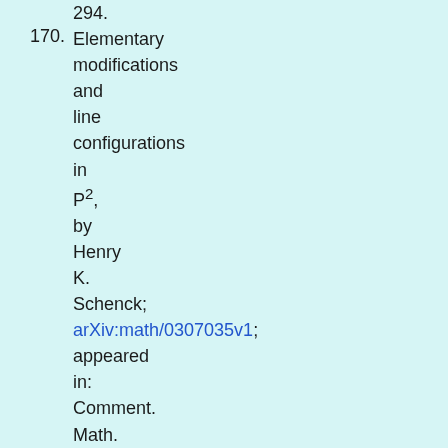294.
170. Elementary modifications and line configurations in P², by Henry K. Schenck; arXiv:math/0307035v1; appeared in: Comment. Math. Helv. 78 (2003) 447-462.
171. Chen Lie algebras